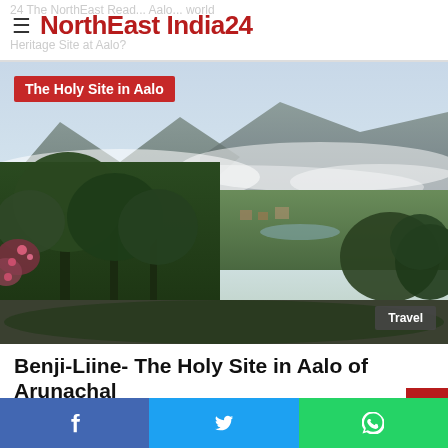NorthEast India24
[Figure (photo): Scenic landscape photo of Aalo, Arunachal Pradesh with mountains, trees, mist, and valley. Overlaid text reads 'The Holy Site in Aalo' and a 'Travel' badge in the bottom right.]
Benji-Liine- The Holy Site in Aalo of Arunachal
November 1, 2017